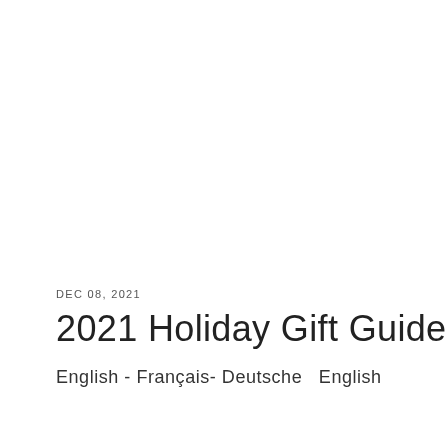DEC 08, 2021
2021 Holiday Gift Guide
English - Français- Deutsche   English